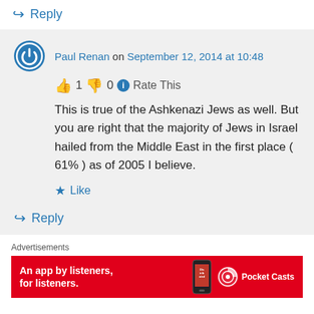↳ Reply
Paul Renan on September 12, 2014 at 10:48
👍 1 👎 0 ℹ Rate This
This is true of the Ashkenazi Jews as well. But you are right that the majority of Jews in Israel hailed from the Middle East in the first place ( 61% ) as of 2005 I believe.
★ Like
↳ Reply
Advertisements
[Figure (other): Pocket Casts advertisement banner - red background with text 'An app by listeners, for listeners.' and Pocket Casts logo with phone image]